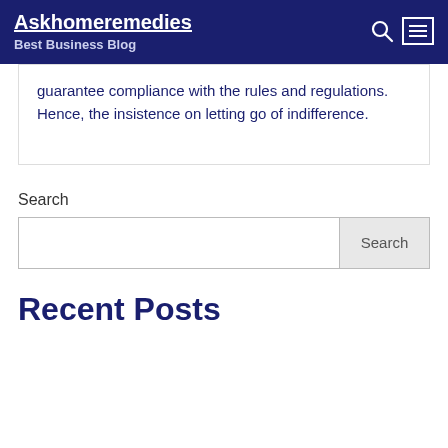Askhomeremedies
Best Business Blog
guarantee compliance with the rules and regulations. Hence, the insistence on letting go of indifference.
Search
Recent Posts